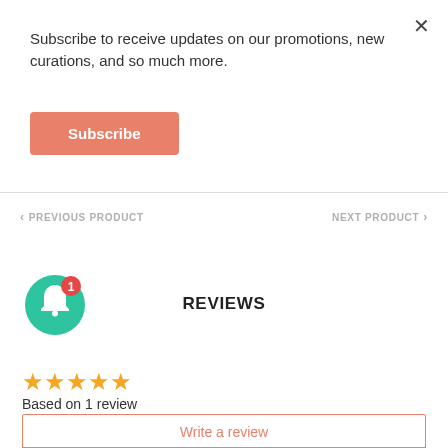Subscribe to receive updates on our promotions, new curations, and so much more.
Subscribe
< PREVIOUS PRODUCT
NEXT PRODUCT >
[Figure (illustration): Green circle with white bell icon and red badge with number 1]
REVIEWS
[Figure (illustration): Four and a half yellow stars rating]
Based on 1 review
Write a review